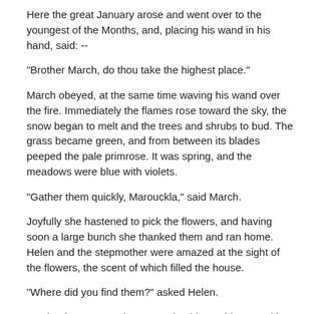Here the great January arose and went over to the youngest of the Months, and, placing his wand in his hand, said: --
"Brother March, do thou take the highest place."
March obeyed, at the same time waving his wand over the fire. Immediately the flames rose toward the sky, the snow began to melt and the trees and shrubs to bud. The grass became green, and from between its blades peeped the pale primrose. It was spring, and the meadows were blue with violets.
"Gather them quickly, Marouckla," said March.
Joyfully she hastened to pick the flowers, and having soon a large bunch she thanked them and ran home. Helen and the stepmother were amazed at the sight of the flowers, the scent of which filled the house.
"Where did you find them?" asked Helen.
"Under the trees on the mountain-side," said Marouckla.
Helen kept the flowers for herself and her mother. She did not even thank her stepsister for the trouble she had taken. The next day she desired Marouckla to fetch her